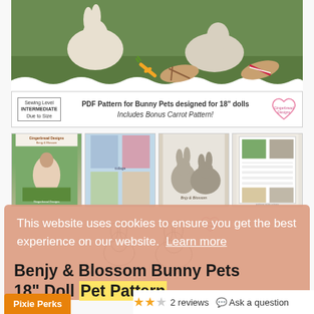[Figure (photo): Main product image showing stuffed bunny toys, a carrot, and sandals on green grass background]
[Figure (photo): Banner below main image: Sewing Level INTERMEDIATE Due to Size, PDF Pattern for Bunny Pets designed for 18" dolls, Includes Bonus Carrot Pattern!, Gingerbread Designs heart logo]
[Figure (photo): Thumbnail 1: Gingerbread Designs Benjy & Blossom cover with girl doll and bunnies on grass]
[Figure (photo): Thumbnail 2: Collage of project photos]
[Figure (photo): Thumbnail 3: Two gray bunny stuffed animals]
[Figure (photo): Thumbnail 4: Instructions/pattern sheet with bunny photos]
[Figure (illustration): Pencil sketch of two bunnies labeled Blossom and Benjy with a small heart logo]
This website uses cookies to ensure you get the best experience on our website.  Learn more
Benjy & Blossom Bunny Pets 18" Doll Pet Pattern
Pixie Perks
2 reviews  Ask a question